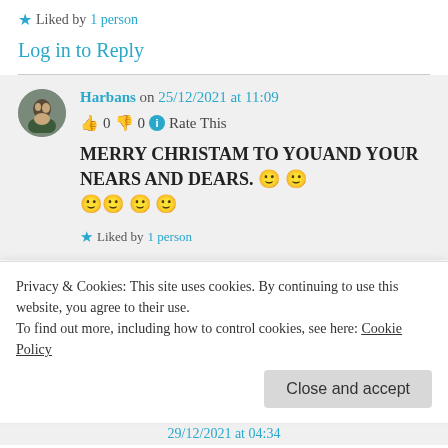★ Liked by 1 person
Log in to Reply
Harbans on 25/12/2021 at 11:09
👍 0 👎 0 ℹ Rate This
MERRY CHRISTAM TO YOUAND YOUR NEARS AND DEARS. 🙂 🙂 🙂 🙂 🙂 🙂
★ Liked by 1 person
Privacy & Cookies: This site uses cookies. By continuing to use this website, you agree to their use.
To find out more, including how to control cookies, see here: Cookie Policy
Close and accept
29/12/2021 at 04:34